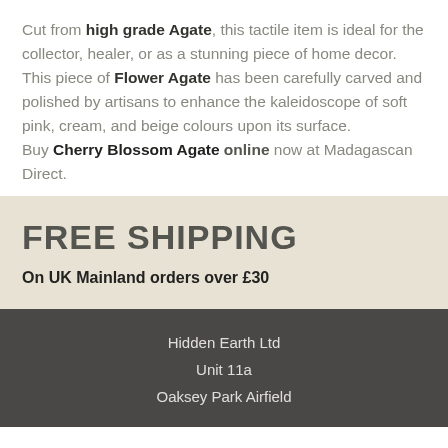Cut from high grade Agate, this tactile item is ideal for the collector, healer, or as a stunning piece of home decor.
This piece of Flower Agate has been carefully carved and polished by artisans to enhance the kaleidoscope of soft pink, cream, and beige colours upon its surface.
Buy Cherry Blossom Agate online now at Madagascan Direct.
FREE SHIPPING
On UK Mainland orders over £30
Hidden Earth Ltd
Unit 11a
Oaksey Park Airfield